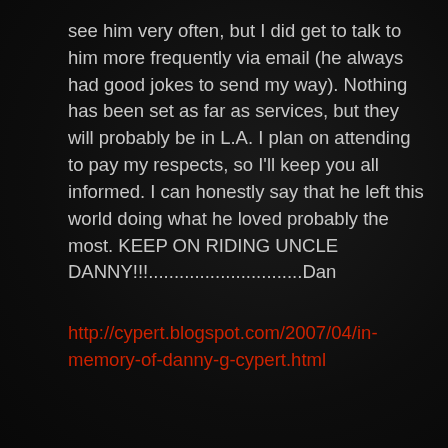see him very often, but I did get to talk to him more frequently via email (he always had good jokes to send my way). Nothing has been set as far as services, but they will probably be in L.A. I plan on attending to pay my respects, so I'll keep you all informed. I can honestly say that he left this world doing what he loved probably the most. KEEP ON RIDING UNCLE DANNY!!!..............................Dan
http://cypert.blogspot.com/2007/04/in-memory-of-danny-g-cypert.html